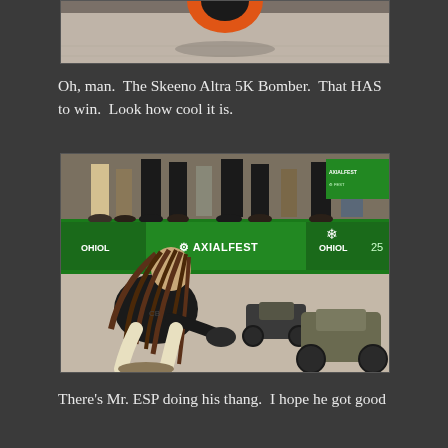[Figure (photo): Partial top photo showing what appears to be a tire with orange color on a concrete floor background]
Oh, man.  The Skeeno Altra 5K Bomber.  That HAS to win.  Look how cool it is.
[Figure (photo): Photo of a person with dreadlocks crouching down near RC cars at what appears to be AxialFest event, with green AXIALFEST banners visible and RC crawler vehicles on a concrete floor]
There's Mr. ESP doing his thang.  I hope he got good